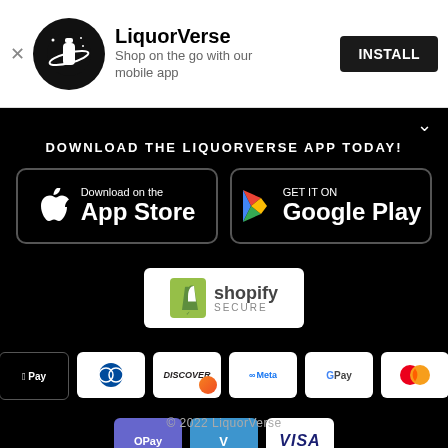[Figure (logo): LiquorVerse app banner with logo, name, tagline, and INSTALL button]
DOWNLOAD THE LIQUORVERSE APP TODAY!
[Figure (illustration): Download on the App Store button]
[Figure (illustration): Get it on Google Play button]
[Figure (logo): Shopify Secure badge]
[Figure (illustration): Payment icons: AMEX, Apple Pay, Diners Club, Discover, Meta, Google Pay, Mastercard, PayPal, OPay, Venmo, Visa]
© 2022 LiquorVerse